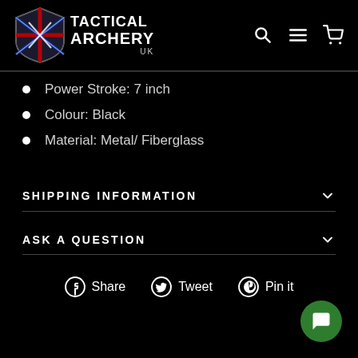Tactical Archery UK
Power Stroke: 7 inch
Colour: Black
Material: Metal/ Fiberglass
SHIPPING INFORMATION
ASK A QUESTION
Share   Tweet   Pin it